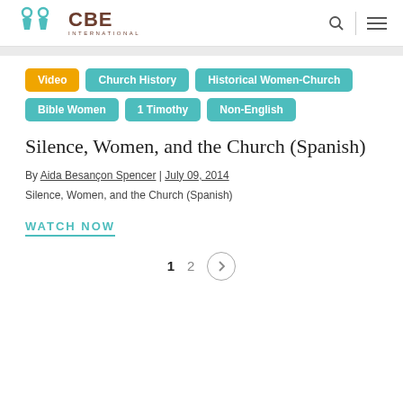[Figure (logo): CBE International logo with teal figures and brown text]
Video
Church History
Historical Women-Church
Bible Women
1 Timothy
Non-English
Silence, Women, and the Church (Spanish)
By Aida Besançon Spencer | July 09, 2014
Silence, Women, and the Church (Spanish)
WATCH NOW
1  2  >